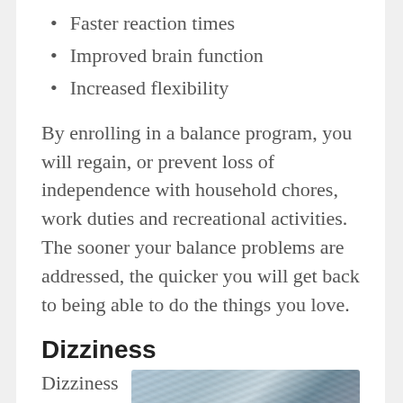Faster reaction times
Improved brain function
Increased flexibility
By enrolling in a balance program, you will regain, or prevent loss of independence with household chores, work duties and recreational activities. The sooner your balance problems are addressed, the quicker you will get back to being able to do the things you love.
Dizziness
Dizziness
[Figure (photo): A blurred, motion-effect photo of trees or foliage against a bright sky, suggesting dizziness or spinning sensation.]